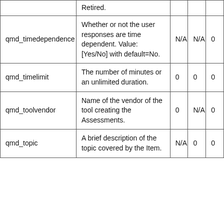|  | Retired. |  |  |  |
| qmd_timedependence | Whether or not the user responses are time dependent. Value: [Yes/No] with default=No. | N/A | N/A | 0 |
| qmd_timelimit | The number of minutes or an unlimited duration. | 0 | 0 | 0 |
| qmd_toolvendor | Name of the vendor of the tool creating the Assessments. | 0 | N/A | 0 |
| qmd_topic | A brief description of the topic covered by the Item. | N/A | 0 | 0 |